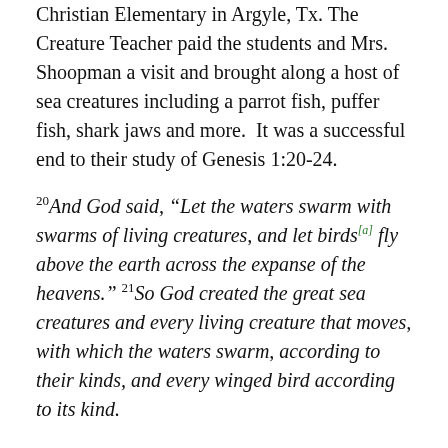Christian Elementary in Argyle, Tx. The Creature Teacher paid the students and Mrs. Shoopman a visit and brought along a host of sea creatures including a parrot fish, puffer fish, shark jaws and more.  It was a successful end to their study of Genesis 1:20-24.
20And God said, “Let the waters swarm with swarms of living creatures, and let birds[a] fly above the earth across the expanse of the heavens.” 21So God created the great sea creatures and every living creature that moves, with which the waters swarm, according to their kinds, and every winged bird according to its kind.